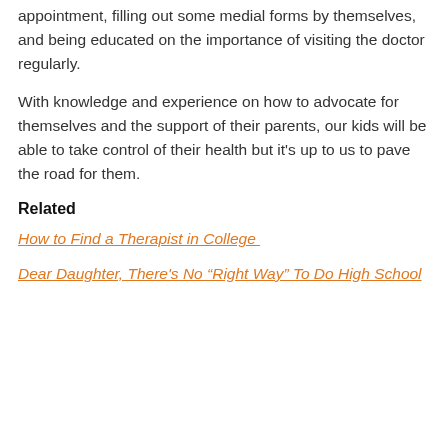appointment, filling out some medial forms by themselves, and being educated on the importance of visiting the doctor regularly.
With knowledge and experience on how to advocate for themselves and the support of their parents, our kids will be able to take control of their health but it’s up to us to pave the road for them.
Related
How to Find a Therapist in College
Dear Daughter, There’s No “Right Way” To Do High School